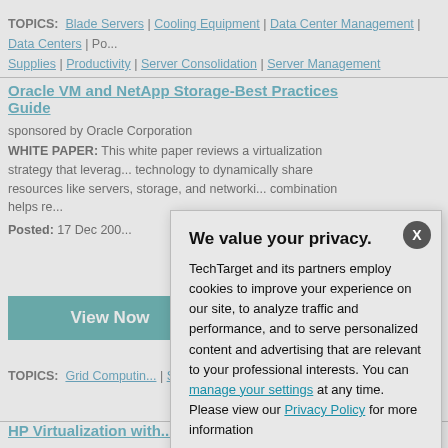TOPICS: Blade Servers | Cooling Equipment | Data Center Management | Data Centers | Po... Supplies | Productivity | Server Consolidation | Server Management
Oracle VM and NetApp Storage-Best Practices Guide
sponsored by Oracle Corporation
WHITE PAPER: This white paper reviews a virtualization strategy that leverages technology to dynamically share resources like servers, storage, and networking. This combination helps re...
Posted: 17 Dec 200...
View Now
TOPICS: Grid Computin... | Storage Best Practices |...
HP Virtualization with...
sponsored by VMwa...
WHITE PAPER: Thi... you to consolidate IT...
Posted: 19 Nov 200...
We value your privacy. TechTarget and its partners employ cookies to improve your experience on our site, to analyze traffic and performance, and to serve personalized content and advertising that are relevant to your professional interests. You can manage your settings at any time. Please view our Privacy Policy for more information
OK
Settings